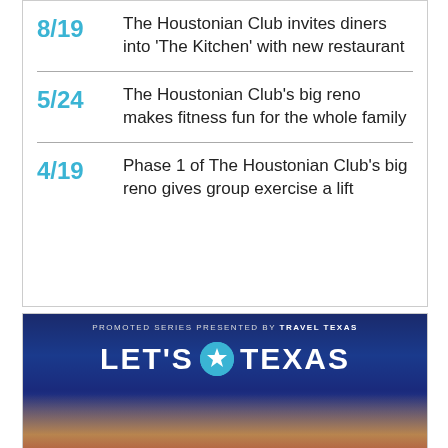8/19 The Houstonian Club invites diners into 'The Kitchen' with new restaurant
5/24 The Houstonian Club's big reno makes fitness fun for the whole family
4/19 Phase 1 of The Houstonian Club's big reno gives group exercise a lift
[Figure (illustration): Promoted series presented by Travel Texas banner. 'LET'S TEXAS' logo with Texas icon. 'YOUR TRAVEL GUIDE TO THE LONE STAR STATE' tagline. People sitting around campfire at sunset.]
8/30 Raise a glass to Texas wine and outdoor fun in friendly Early
9/30 Lease up a great getaway to...